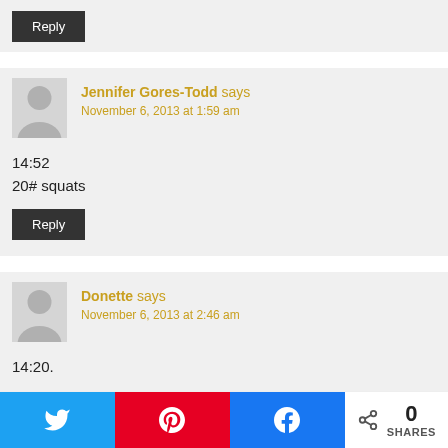[Reply button clipped at top]
Jennifer Gores-Todd says
November 6, 2013 at 1:59 am
14:52
20# squats
Reply
Donette says
November 6, 2013 at 2:46 am
14:20.
Reply
0 SHARES